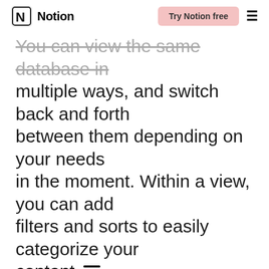Notion — Try Notion free
You can view the same database in multiple ways, and switch back and forth between them depending on your needs in the moment. Within a view, you can add filters and sorts to easily categorize your content
CONTENTS
Create and navigate between views
Customize your database views
Layouts
Open pages as
Filters